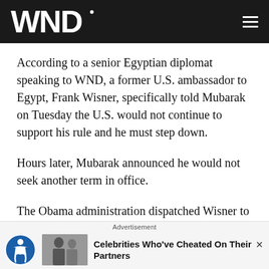WND
According to a senior Egyptian diplomat speaking to WND, a former U.S. ambassador to Egypt, Frank Wisner, specifically told Mubarak on Tuesday the U.S. would not continue to support his rule and he must step down.
Hours later, Mubarak announced he would not seek another term in office.
The Obama administration dispatched Wisner to Egypt last weekend to report to the State Department and White House a general sense of the situation in the country.
Advertisement
Celebrities Who've Cheated On Their Partners